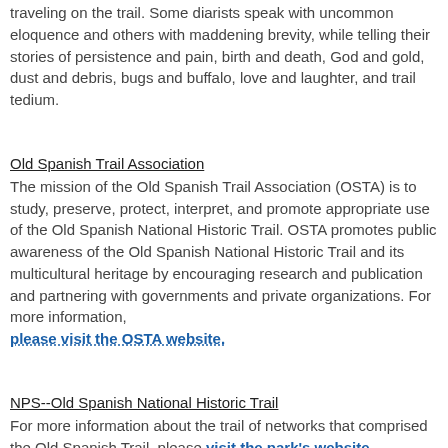traveling on the trail. Some diarists speak with uncommon eloquence and others with maddening brevity, while telling their stories of persistence and pain, birth and death, God and gold, dust and debris, bugs and buffalo, love and laughter, and trail tedium.
Old Spanish Trail Association
The mission of the Old Spanish Trail Association (OSTA) is to study, preserve, protect, interpret, and promote appropriate use of the Old Spanish National Historic Trail. OSTA promotes public awareness of the Old Spanish National Historic Trail and its multicultural heritage by encouraging research and publication and partnering with governments and private organizations. For more information, please visit the OSTA website.
NPS--Old Spanish National Historic Trail
For more information about the trail of networks that comprised the Old Spanish Trail, please visit the park's website.